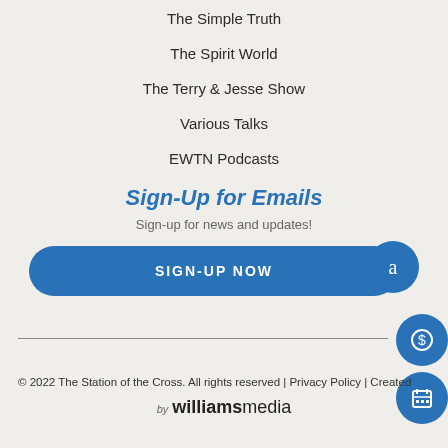The Simple Truth
The Spirit World
The Terry & Jesse Show
Various Talks
EWTN Podcasts
Sign-Up for Emails
Sign-up for news and updates!
SIGN-UP NOW
© 2022 The Station of the Cross. All rights reserved | Privacy Policy | Created by williamsmedia